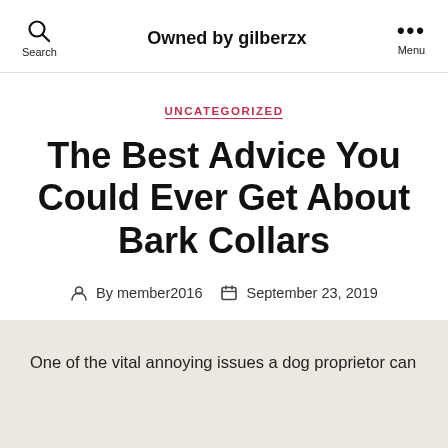Owned by gilberzx
UNCATEGORIZED
The Best Advice You Could Ever Get About Bark Collars
By member2016  September 23, 2019
One of the vital annoying issues a dog proprietor can